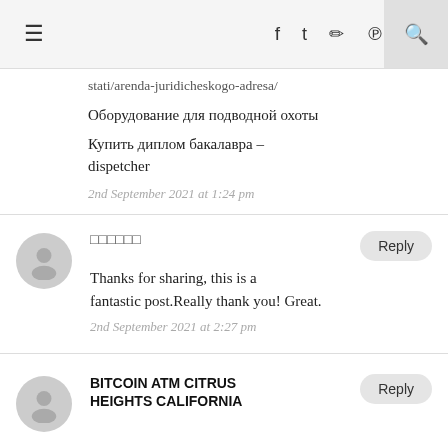≡  f  tw  ig  pi  🔍
stati/arenda-juridicheskogo-adresa/
Оборудование для подводной охоты
Купить диплом бакалавра – dispetcher
2nd September 2021 at 1:24 pm
□□□□□□
Thanks for sharing, this is a fantastic post.Really thank you! Great.
2nd September 2021 at 2:27 pm
BITCOIN ATM CITRUS HEIGHTS CALIFORNIA